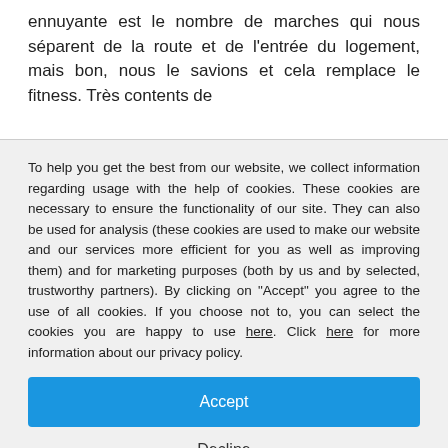ennuyante est le nombre de marches qui nous séparent de la route et de l'entrée du logement, mais bon, nous le savions et cela remplace le fitness. Très contents de
To help you get the best from our website, we collect information regarding usage with the help of cookies. These cookies are necessary to ensure the functionality of our site. They can also be used for analysis (these cookies are used to make our website and our services more efficient for you as well as improving them) and for marketing purposes (both by us and by selected, trustworthy partners). By clicking on "Accept" you agree to the use of all cookies. If you choose not to, you can select the cookies you are happy to use here. Click here for more information about our privacy policy.
Accept
Decline
Configure